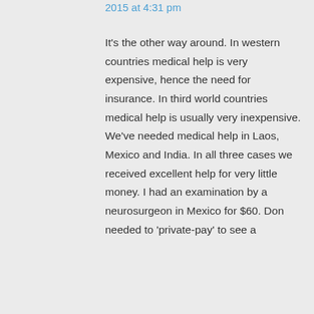2015 at 4:31 pm
It's the other way around. In western countries medical help is very expensive, hence the need for insurance. In third world countries medical help is usually very inexpensive. We've needed medical help in Laos, Mexico and India. In all three cases we received excellent help for very little money. I had an examination by a neurosurgeon in Mexico for $60. Don needed to 'private-pay' to see a